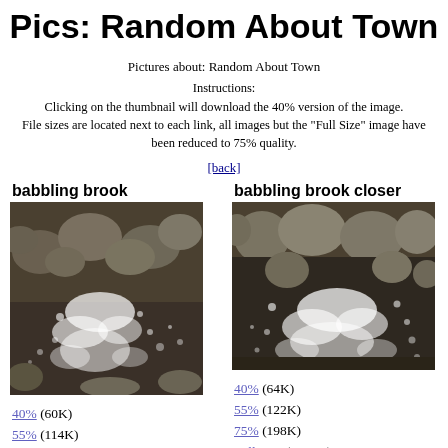Pics: Random About Town
Pictures about: Random About Town
Instructions:
Clicking on the thumbnail will download the 40% version of the image.
File sizes are located next to each link, all images but the "Full Size" image have been reduced to 75% quality.
[back]
babbling brook
[Figure (photo): Photo of babbling brook with rocks and white water]
babbling brook closer
[Figure (photo): Photo of babbling brook closer view with rocks and white water]
40% (60K)
55% (114K)
75% (186K)
Full Size (1037K)
40% (64K)
55% (122K)
75% (198K)
Full Size (1075K)